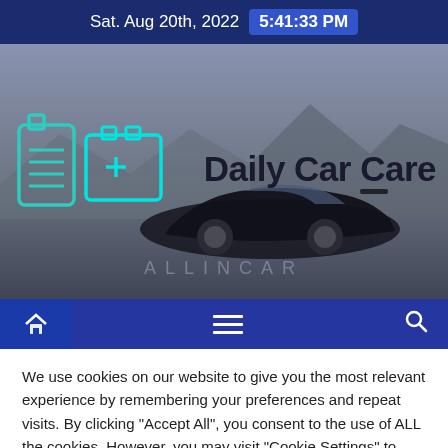Sat. Aug 20th, 2022  5:41:33 PM
[Figure (screenshot): Hero banner with dark car photo, teal car care icons on left, 'Daily Car Care' title text, and watermark 'ALLINCAR']
[Figure (screenshot): Navigation bar with home icon (highlighted), hamburger menu, and search icon]
We use cookies on our website to give you the most relevant experience by remembering your preferences and repeat visits. By clicking "Accept All", you consent to the use of ALL the cookies. However, you may visit "Cookie Settings" to provide a controlled consent.
Cookie Settings  Accept All